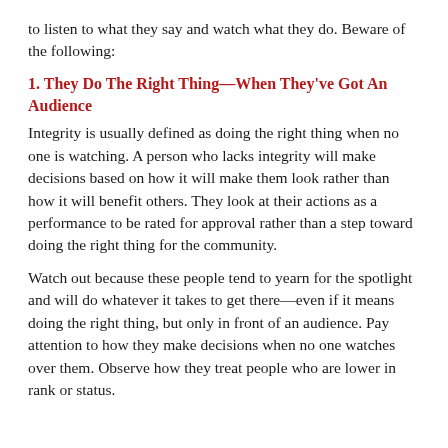to listen to what they say and watch what they do. Beware of the following:
1. They Do The Right Thing—When They've Got An Audience
Integrity is usually defined as doing the right thing when no one is watching. A person who lacks integrity will make decisions based on how it will make them look rather than how it will benefit others. They look at their actions as a performance to be rated for approval rather than a step toward doing the right thing for the community.
Watch out because these people tend to yearn for the spotlight and will do whatever it takes to get there—even if it means doing the right thing, but only in front of an audience. Pay attention to how they make decisions when no one watches over them. Observe how they treat people who are lower in rank or status.